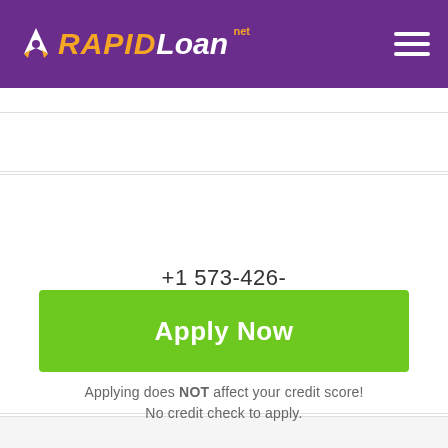[Figure (logo): RapidLoan.net logo with rocket icon on purple header bar, hamburger menu icon on right]
+1 573-426-6266
Apply Now
Applying does NOT affect your credit score! No credit check to apply.